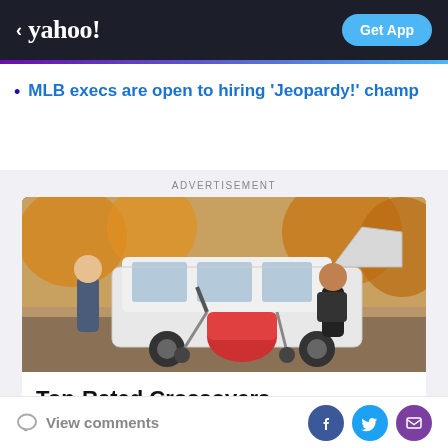yahoo! — Get App
MLB execs are open to hiring 'Jeopardy!' champ
ADVERTISEMENT
[Figure (photo): A woman loading an orange stroller into the back of a white SUV crossover in an autumn setting, with a child standing beside her]
Top-Rated Crossovers
yahoo! — Search Now
View comments — Facebook, Twitter, Email share icons